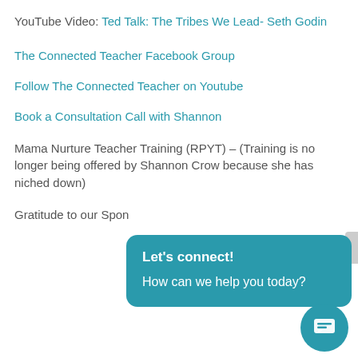YouTube Video: Ted Talk: The Tribes We Lead- Seth Godin
The Connected Teacher Facebook Group
Follow The Connected Teacher on Youtube
Book a Consultation Call with Shannon
Mama Nurture Teacher Training (RPYT) – (Training is no longer being offered by Shannon Crow because she has niched down)
Gratitude to our Spon
[Figure (other): Chat widget popup with teal background showing 'Let's connect!' heading and 'How can we help you today?' message, with a round teal chat icon button at bottom right]